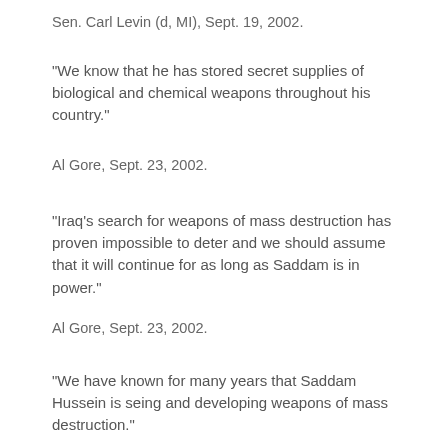Sen. Carl Levin (d, MI), Sept. 19, 2002.
"We know that he has stored secret supplies of biological and chemical weapons throughout his country."
Al Gore, Sept. 23, 2002.
"Iraq's search for weapons of mass destruction has proven impossible to deter and we should assume that it will continue for as long as Saddam is in power."
Al Gore, Sept. 23, 2002.
"We have known for many years that Saddam Hussein is seing and developing weapons of mass destruction."